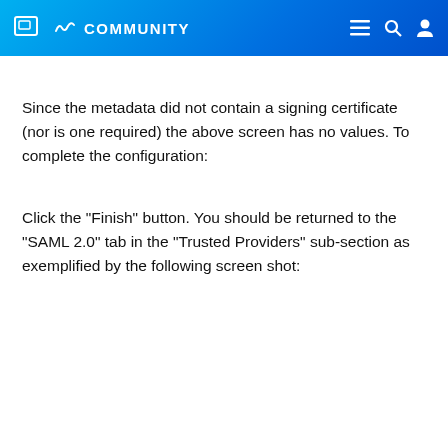MICRO FOCUS COMMUNITY
Since the metadata did not contain a signing certificate (nor is one required) the above screen has no values. To complete the configuration:
Click the "Finish" button. You should be returned to the "SAML 2.0" tab in the "Trusted Providers" sub-section as exemplified by the following screen shot: